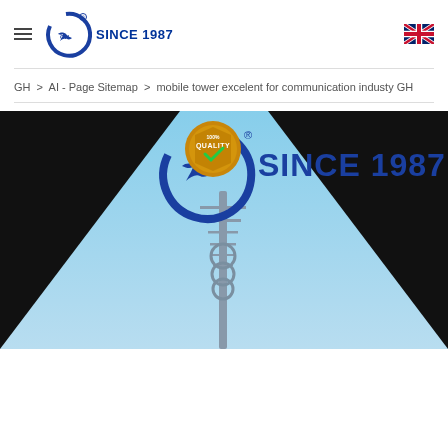GH SINCE 1987
GH > AI - Page Sitemap > mobile tower excelent for communication industy GH
[Figure (photo): Mobile communication tower against a blue sky background with GH company logo and 'SINCE 1987' text overlay, black triangular shapes on either side]